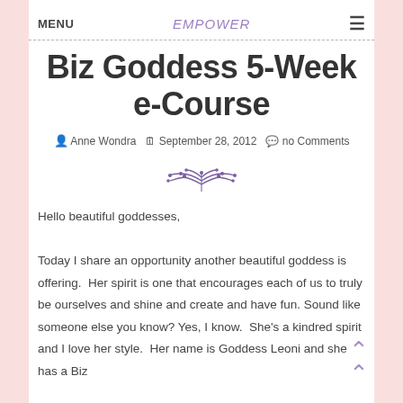MENU   EMPOWER   ☰
Biz Goddess 5-Week e-Course
👤 Anne Wondra  📅 September 28, 2012  💬 no Comments
[Figure (illustration): Decorative floral/leaf divider ornament in purple]
Hello beautiful goddesses,

Today I share an opportunity another beautiful goddess is offering.  Her spirit is one that encourages each of us to truly be ourselves and shine and create and have fun. Sound like someone else you know? Yes, I know.  She's a kindred spirit and I love her style.  Her name is Goddess Leoni and she has a Biz